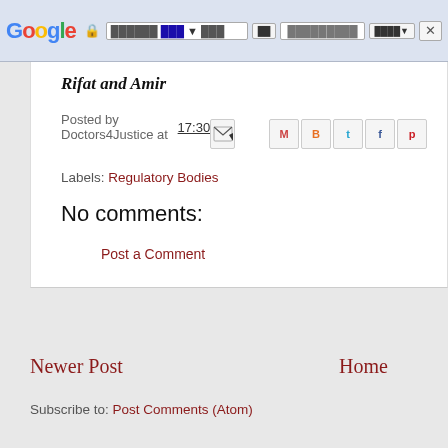Google browser chrome bar with address bar showing URL, search box, and close button
Rifat and Amir
Posted by Doctors4Justice at 17:30
Labels: Regulatory Bodies
No comments:
Post a Comment
Newer Post
Home
Subscribe to: Post Comments (Atom)